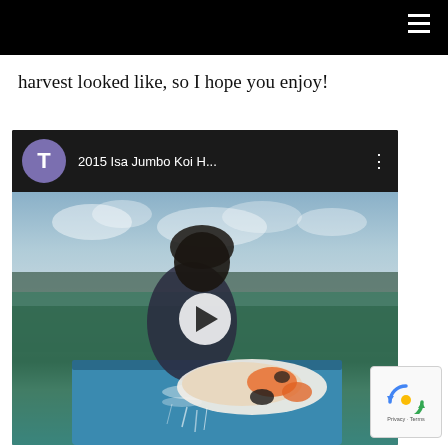harvest looked like, so I hope you enjoy!
[Figure (screenshot): Embedded YouTube video thumbnail showing a man handling a large jumbo Koi fish over a blue container, outdoors with cloudy sky and green trees. Video title bar reads '2015 Isa Jumbo Koi H...' with a purple 'T' avatar icon and three-dot menu. A white play button is centered on the thumbnail.]
[Figure (logo): Google reCAPTCHA badge in lower right corner with Privacy and Terms links]